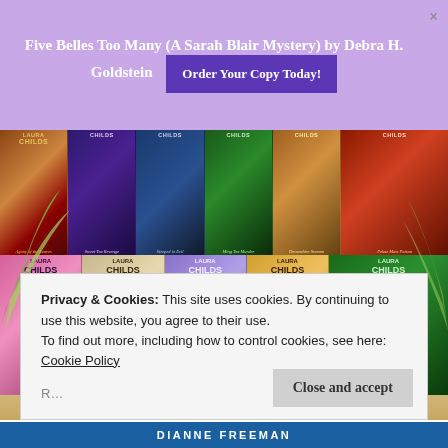Five Belles Too Many (A Sarah Blair Mystery) by Debra H. Goldstein
[Figure (screenshot): Grid of Laura Childs Tea Shop mystery book covers, two rows showing approximately 11 books with colorful illustrated covers featuring tea party scenes]
Privacy & Cookies: This site uses cookies. By continuing to use this website, you agree to their use.
To find out more, including how to control cookies, see here: Cookie Policy
DIANNE FREEMAN